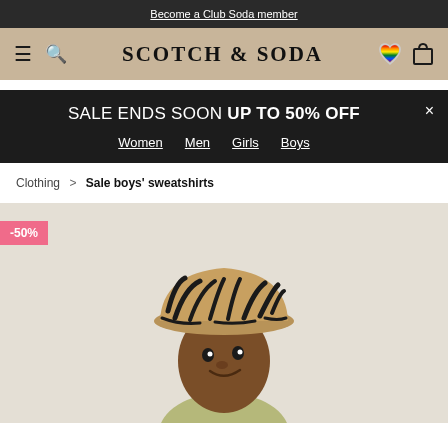Become a Club Soda member
[Figure (logo): Scotch & Soda navigation bar with hamburger menu, search icon, brand name SCOTCH & SODA, rainbow heart icon, and shopping bag icon on tan/beige background]
SALE ENDS SOON UP TO 50% OFF
Women
Men
Girls
Boys
Clothing > Sale boys' sweatshirts
[Figure (photo): Child wearing a tan and black zebra/tiger print bucket hat against a light beige background, with a -50% discount badge in pink at the top left]